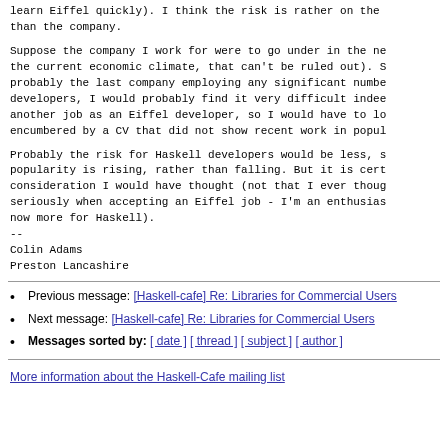gold Eiffel developers (or just gold developers who can learn Eiffel quickly). I think the risk is rather on the than the company.
Suppose the company I work for were to go under in the next few years (in the current economic climate, that can't be ruled out). Since ISE is probably the last company employing any significant number of Eiffel developers, I would probably find it very difficult indeed to find another job as an Eiffel developer, so I would have to look for a job encumbered by a CV that did not show recent work in popular languages.
Probably the risk for Haskell developers would be less, since Haskell popularity is rising, rather than falling. But it is certainly a consideration I would have thought (not that I ever thought about it seriously when accepting an Eiffel job - I'm an enthusiast, but now more for Haskell).
--
Colin Adams
Preston Lancashire
Previous message: [Haskell-cafe] Re: Libraries for Commercial Users
Next message: [Haskell-cafe] Re: Libraries for Commercial Users
Messages sorted by: [ date ] [ thread ] [ subject ] [ author ]
More information about the Haskell-Cafe mailing list